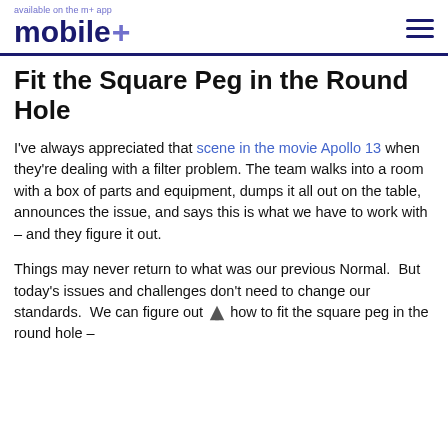available on the m+ | mobile+
Fit the Square Peg in the Round Hole
I've always appreciated that scene in the movie Apollo 13 when they're dealing with a filter problem. The team walks into a room with a box of parts and equipment, dumps it all out on the table, announces the issue, and says this is what we have to work with – and they figure it out.
Things may never return to what was our previous Normal. But today's issues and challenges don't need to change our standards. We can figure out how to fit the square peg in the round hole –